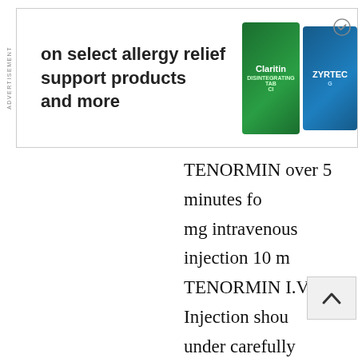[Figure (other): Advertisement banner for allergy relief products (Claritin, Zyrtec) with text 'on select allergy relief support products and more']
TENORMIN over 5 minutes fo mg intravenous injection 10 m TENORMIN I.V. Injection shou under carefully controlled co monitoring of blood pressure electrocardiogram. Dilutions Injection in Dextrose Injection Chloride Injection USP, or So Dextrose Injection may be us are stable for 48 hou they immediately.